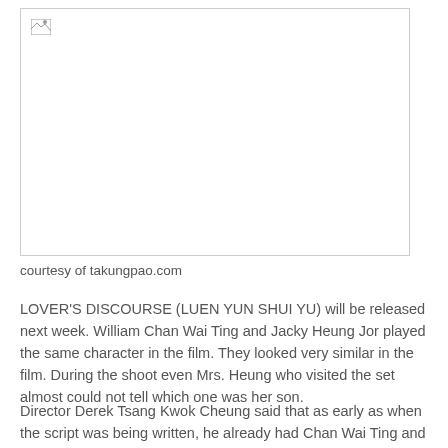[Figure (photo): Broken/missing image placeholder with border]
courtesy of takungpao.com
LOVER'S DISCOURSE (LUEN YUN SHUI YU) will be released next week. William Chan Wai Ting and Jacky Heung Jor played the same character in the film. They looked very similar in the film. During the shoot even Mrs. Heung who visited the set almost could not tell which one was her son.
Director Derek Tsang Kwok Cheung said that as early as when the script was being written, he already had Chan Wai Ting and Heung Jor in mind. He said, "This story was 12